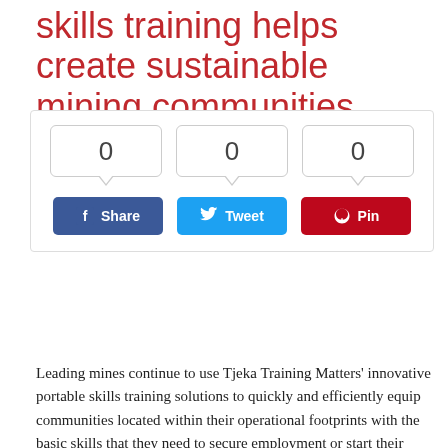skills training helps create sustainable mining communities
[Figure (screenshot): Social sharing widget with three counter bubbles showing 0 each, and Share (Facebook), Tweet (Twitter), and Pin (Pinterest) buttons below.]
Leading mines continue to use Tjeka Training Matters' innovative portable skills training solutions to quickly and efficiently equip communities located within their operational footprints with the basic skills that they need to secure employment or start their own businesses. They are also a